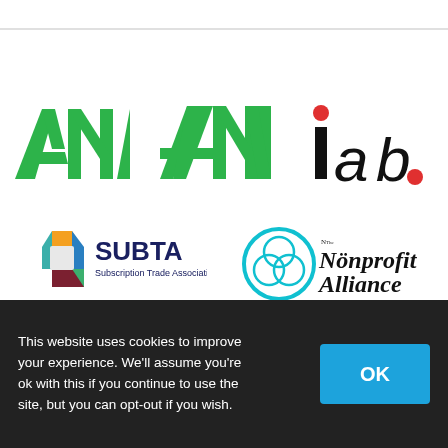[Figure (logo): ANA logo - green bold letters A, N, A]
[Figure (logo): IAB logo - black lowercase letters iab with red dot]
[Figure (logo): SUBTA - Subscription Trade Association logo with colorful hexagon icon]
[Figure (logo): Nonprofit Alliance logo with teal circular emblem]
This website uses cookies to improve your experience. We'll assume you're ok with this if you continue to use the site, but you can opt-out if you wish.